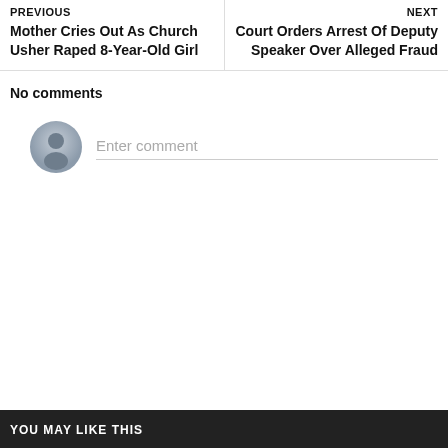PREVIOUS
Mother Cries Out As Church Usher Raped 8-Year-Old Girl
NEXT
Court Orders Arrest Of Deputy Speaker Over Alleged Fraud
No comments
[Figure (illustration): Default user avatar icon, circular grey silhouette]
Enter comment
YOU MAY LIKE THIS